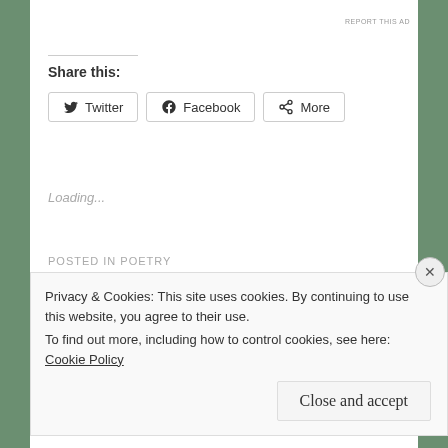REPORT THIS AD
Share this:
Twitter  Facebook  More
Loading...
POSTED IN POETRY
A TWILIGHT LOVE
Privacy & Cookies: This site uses cookies. By continuing to use this website, you agree to their use.
To find out more, including how to control cookies, see here: Cookie Policy
Close and accept